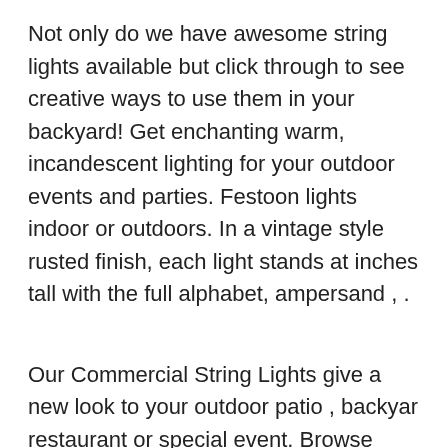Not only do we have awesome string lights available but click through to see creative ways to use them in your backyard! Get enchanting warm, incandescent lighting for your outdoor events and parties. Festoon lights indoor or outdoors. In a vintage style rusted finish, each light stands at inches tall with the full alphabet, ampersand , .
Our Commercial String Lights give a new look to your outdoor patio , backyar restaurant or special event. Browse through our selection of outdoor string lights to use on your patio and garden. Decorate your business with beautiful commercial outdoor string lights ! An explanation of how to hang your outdoor commercial grade globe string lights using a globe light suspension